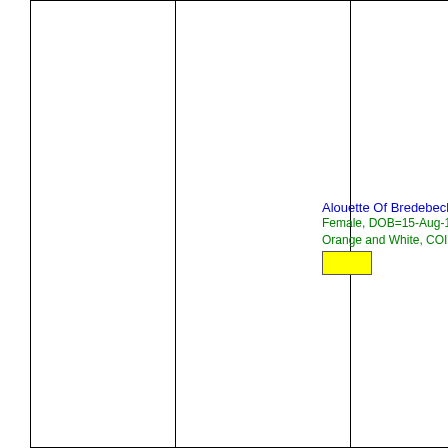[Figure (other): Pedigree chart layout with vertical dividing lines creating columns, and dog information visible in the rightmost column: name 'Alouette Of Bredebeck', Female, DOB=15-Aug-19, Orange and White, COI=0, with a yellow rectangle marker]
Alouette Of Bredebeck
Female, DOB=15-Aug-19
Orange and White, COI=0